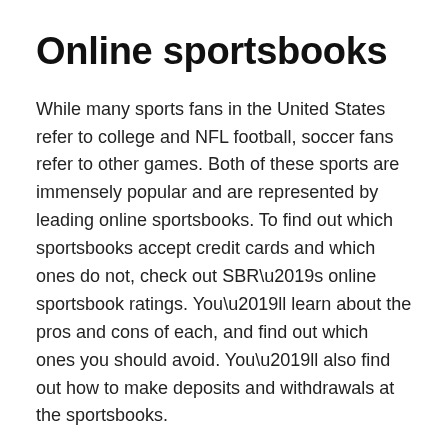Online sportsbooks
While many sports fans in the United States refer to college and NFL football, soccer fans refer to other games. Both of these sports are immensely popular and are represented by leading online sportsbooks. To find out which sportsbooks accept credit cards and which ones do not, check out SBR’s online sportsbook ratings. You’ll learn about the pros and cons of each, and find out which ones you should avoid. You’ll also find out how to make deposits and withdrawals at the sportsbooks.
Bonuses